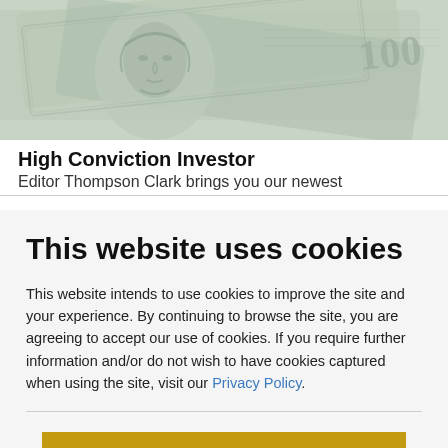[Figure (photo): Close-up photograph of US dollar bills showing Benjamin Franklin's portrait on the $100 bill with overlapping currency notes in grayscale/light tones]
High Conviction Investor
Editor Thompson Clark brings you our newest
This website uses cookies
This website intends to use cookies to improve the site and your experience. By continuing to browse the site, you are agreeing to accept our use of cookies. If you require further information and/or do not wish to have cookies captured when using the site, visit our Privacy Policy.
ACCEPT COOKIES